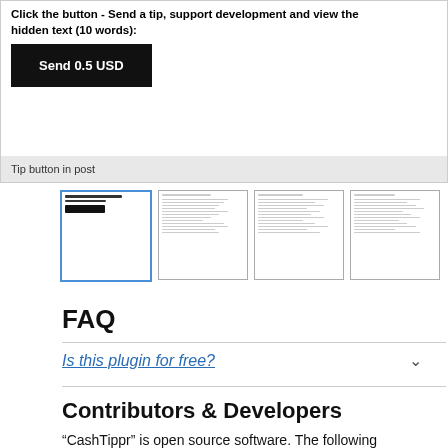Click the button - Send a tip, support development and view the hidden text (10 words):
[Figure (screenshot): Black button labeled 'Send 0.5 USD']
Tip button in post
[Figure (screenshot): Four thumbnail screenshots of plugin interface pages]
FAQ
Is this plugin for free?
Contributors & Developers
“CashTippr” is open source software. The following